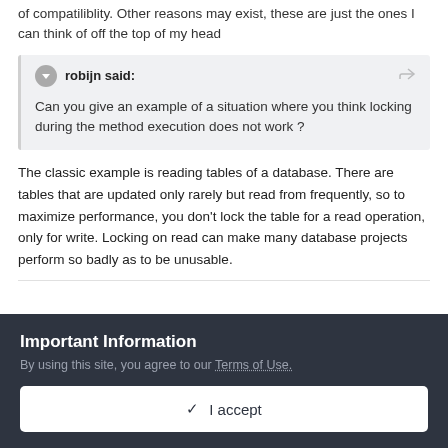of compatibility. Other reasons may exist, these are just the ones I can think of off the top of my head
robijn said: Can you give an example of a situation where you think locking during the method execution does not work ?
The classic example is reading tables of a database. There are tables that are updated only rarely but read from frequently, so to maximize performance, you don't lock the table for a read operation, only for write. Locking on read can make many database projects perform so badly as to be unusable.
Important Information
By using this site, you agree to our Terms of Use.
I accept